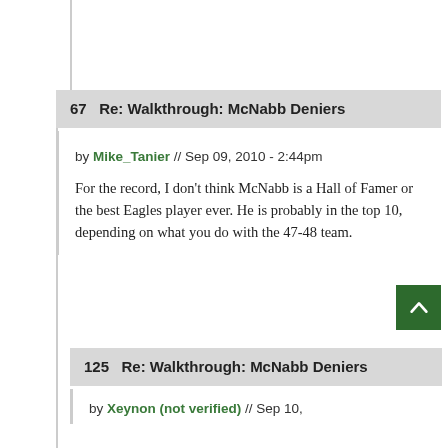67   Re: Walkthrough: McNabb Deniers
by Mike_Tanier // Sep 09, 2010 - 2:44pm
For the record, I don't think McNabb is a Hall of Famer or the best Eagles player ever. He is probably in the top 10, depending on what you do with the 47-48 team.
125   Re: Walkthrough: McNabb Deniers
by Xeynon (not verified) // Sep 10,